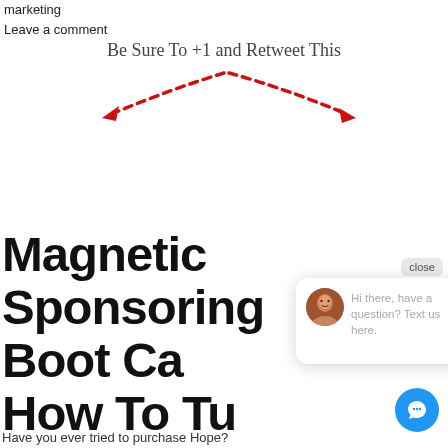marketing
Leave a comment
[Figure (illustration): Text reading 'Be Sure To +1 and Retweet This' with two red dashed curved arrows pointing left and right below it]
Magnetic Sponsoring Boot Ca[mp]
How To Tu[rn Everyone Who]
Said “No” Into Profit
Hi there, have a question? Text us here.
Have you ever tried to purchase Hope?
Well,...